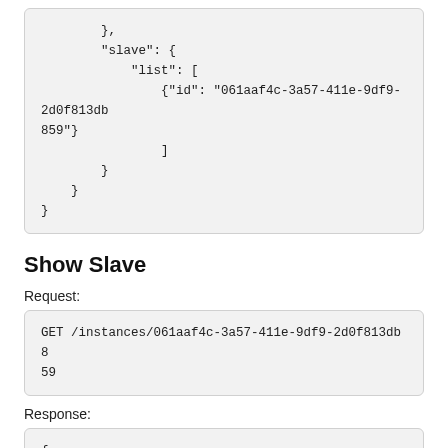},
    "slave": {
        "list": [
            {"id": "061aaf4c-3a57-411e-9df9-2d0f813db859"}
            ]
        }
    }
}
Show Slave
Request:
GET /instances/061aaf4c-3a57-411e-9df9-2d0f813db859
Response:
{